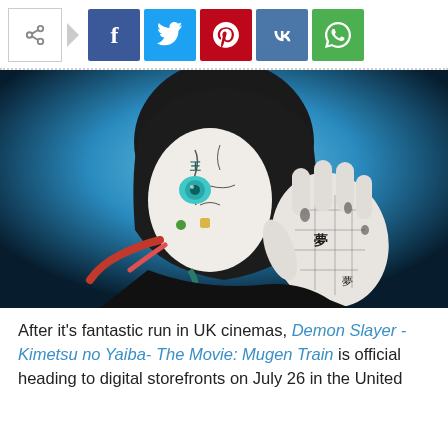[Figure (other): Social media share bar with share icon, arrow, and buttons for Facebook, Twitter, Pinterest, VK, and WhatsApp]
[Figure (illustration): Anime illustration from Demon Slayer - Kimetsu no Yaiba - The Movie: Mugen Train, showing a pale demon character with tattoo-like markings on face and hand, reaching toward viewer with a menacing hand, blue gradient background]
After it's fantastic run in UK cinemas, Demon Slayer - Kimetsu no Yaiba- The Movie: Mugen Train is official heading to digital storefronts on July 26 in the United